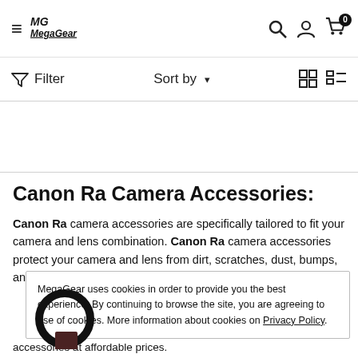MegaGear — navigation bar with hamburger menu, logo, search, account, cart (0)
Filter   Sort by   (grid/list view icons)
Canon Ra Camera Accessories:
Canon Ra camera accessories are specifically tailored to fit your camera and lens combination. Canon Ra camera accessories protect your camera and lens from dirt, scratches, dust, bumps, and moisture while
MegaGear uses cookies in order to provide you the best experience. By continuing to browse the site, you are agreeing to use of cookies. More information about cookies on Privacy Policy.
accessories at affordable prices.